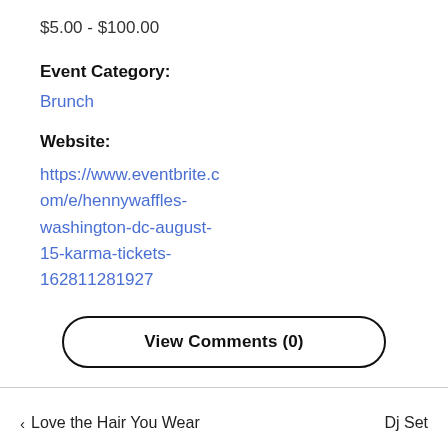$5.00 - $100.00
Event Category:
Brunch
Website:
https://www.eventbrite.com/e/hennywaffles-washington-dc-august-15-karma-tickets-162811281927
View Comments (0)
< Love the Hair You Wear    Dj Set